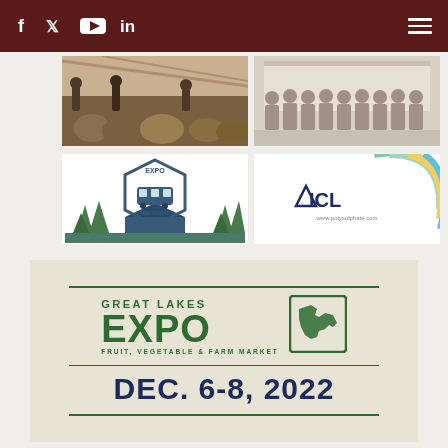f  twitter  youtube  in  [menu]
[Figure (photo): Group of people gathered around large pumpkins/gourds in a barn or indoor venue]
[Figure (photo): Group of people posing for a photo at what appears to be a conference or expo event]
[Figure (logo): EXPO Farm Market Bus Tour badge/logo with hexagon shape, bus illustration, trees, and barn]
[Figure (logo): ICL logo with colorful wave design and website www.polysulphate.com]
[Figure (infographic): Great Lakes EXPO - Fruit, Vegetable & Farm Market - DEC. 6-8, 2022 promotional banner on beige background]